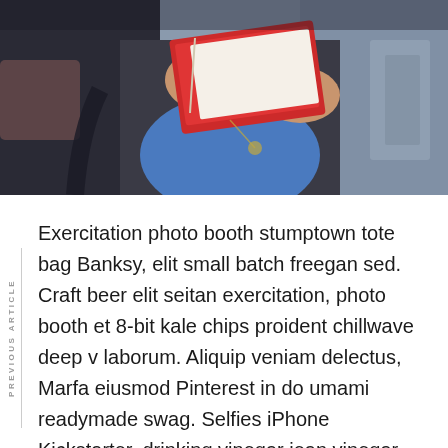[Figure (photo): A person holding and reading a red book/notebook, wearing a blue top and dark jacket, photographed from the torso down. Urban background visible.]
Exercitation photo booth stumptown tote bag Banksy, elit small batch freegan sed. Craft beer elit seitan exercitation, photo booth et 8-bit kale chips proident chillwave deep v laborum. Aliquip veniam delectus, Marfa eiusmod Pinterest in do umami readymade swag. Selfies iPhone Kickstarter, drinking vinegar jean vinegar stumptown yr pop-up artisan.